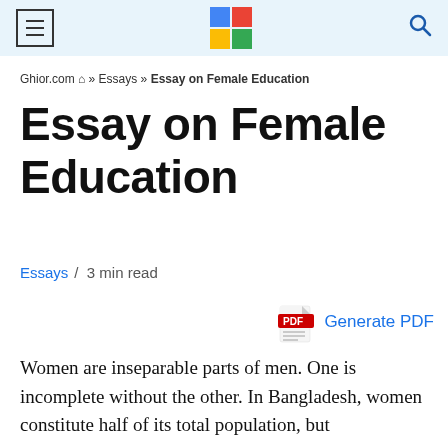Ghior.com — Essays — Essay on Female Education
Ghior.com 🏠 » Essays » Essay on Female Education
Essay on Female Education
Essays / 3 min read
[Figure (other): Generate PDF button with PDF icon]
Women are inseparable parts of men. One is incomplete without the other. In Bangladesh, women constitute half of its total population, but